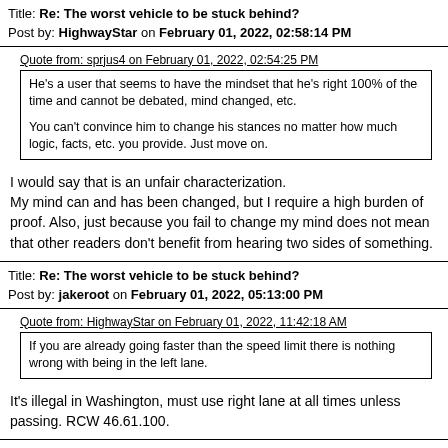Title: Re: The worst vehicle to be stuck behind?
Post by: HighwayStar on February 01, 2022, 02:58:14 PM
Quote from: sprjus4 on February 01, 2022, 02:54:25 PM
He's a user that seems to have the mindset that he's right 100% of the time and cannot be debated, mind changed, etc.

You can't convince him to change his stances no matter how much logic, facts, etc. you provide. Just move on.
I would say that is an unfair characterization.
My mind can and has been changed, but I require a high burden of proof. Also, just because you fail to change my mind does not mean that other readers don't benefit from hearing two sides of something.
Title: Re: The worst vehicle to be stuck behind?
Post by: jakeroot on February 01, 2022, 05:13:00 PM
Quote from: HighwayStar on February 01, 2022, 11:42:18 AM
If you are already going faster than the speed limit there is nothing wrong with being in the left lane.
It's illegal in Washington, must use right lane at all times unless passing. RCW 46.61.100.
Title: Re: The worst vehicle to be stuck behind?
Post by: Rothman on February 01, 2022, 06:46:43 PM